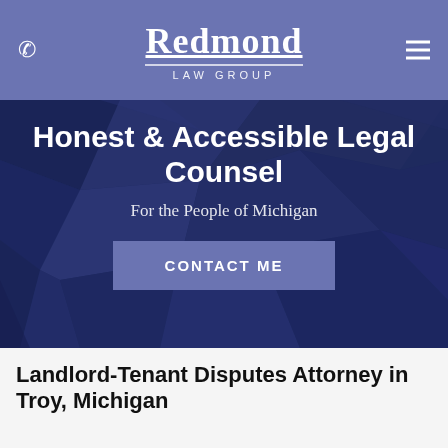Redmond Law Group
Honest & Accessible Legal Counsel
For the People of Michigan
CONTACT ME
Landlord-Tenant Disputes Attorney in Troy, Michigan